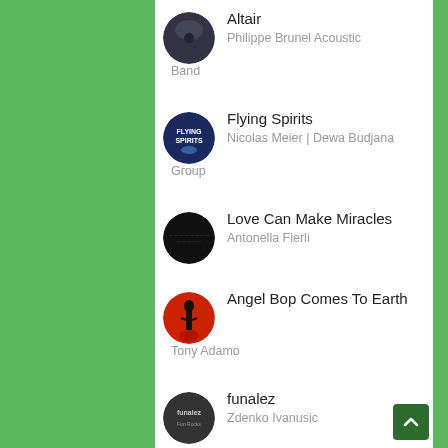Altair
Philippe Brunel Acoustic
Band
Flying Spirits
Nicolas Meier | Dewa Budjana
Group
Love Can Make Miracles
Antonella Fierli
Angel Bop Comes To Earth
Tony Adamo
funalez
Zdenko Ivanusic